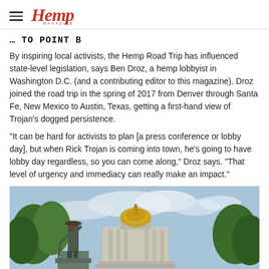Hemp magazine logo with hamburger menu
… TO POINT B
By inspiring local activists, the Hemp Road Trip has influenced state-level legislation, says Ben Droz, a hemp lobbyist in Washington D.C. (and a contributing editor to this magazine). Droz joined the road trip in the spring of 2017 from Denver through Santa Fe, New Mexico to Austin, Texas, getting a first-hand view of Trojan's dogged persistence.
“It can be hard for activists to plan [a press conference or lobby day], but when Rick Trojan is coming into town, he’s going to have lobby day regardless, so you can come along,” Droz says. “That level of urgency and immediacy can really make an impact.”
[Figure (photo): A bronze statue of a pioneer/explorer figure in the foreground with a golden-domed state capitol building visible behind trees in the background under a partly cloudy sky.]